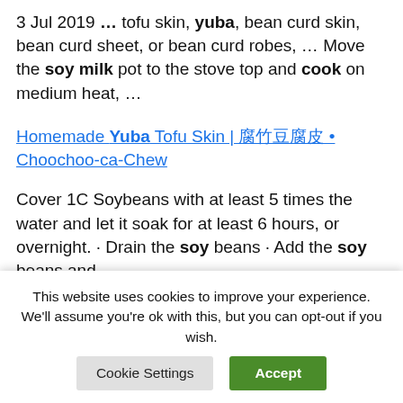3 Jul 2019 ... tofu skin, yuba, bean curd skin, bean curd sheet, or bean curd robes, ... Move the soy milk pot to the stove top and cook on medium heat, ...
Homemade Yuba Tofu Skin | 腐竹豆腐皮 • Choochoo-ca-Chew
Cover 1C Soybeans with at least 5 times the water and let it soak for at least 6 hours, or overnight. · Drain the soy beans · Add the soy beans and
This website uses cookies to improve your experience. We'll assume you're ok with this, but you can opt-out if you wish.